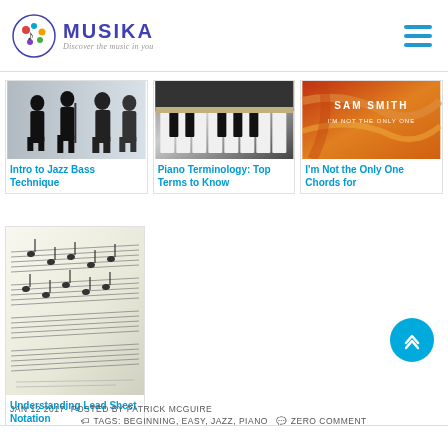MUSIKA — Discover the music in you
[Figure (photo): Silhouettes of jazz musicians playing instruments]
Intro to Jazz Bass Technique
[Figure (photo): Close-up of piano keys]
Piano Terminology: Top Terms to Know
[Figure (photo): Sam Smith - I'm Not the Only One album cover]
I'm Not the Only One Chords for
[Figure (photo): Sheet music / lead sheet notation close-up]
Understanding Lead Sheet Notation
JAN 12 2017- POSTED BY PATRICK MCGUIRE
TAGS: BEGINNING, EASY, JAZZ, PIANO  ZERO COMMENT